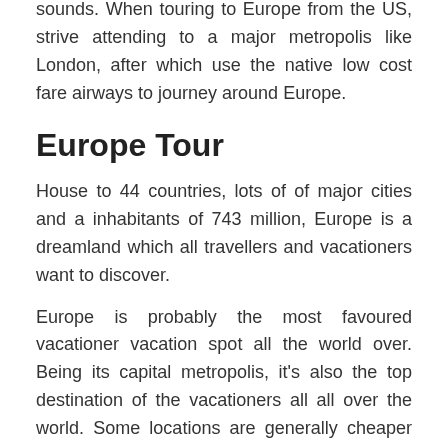sounds. When touring to Europe from the US, strive attending to a major metropolis like London, after which use the native low cost fare airways to journey around Europe.
Europe Tour
House to 44 countries, lots of of major cities and a inhabitants of 743 million, Europe is a dreamland which all travellers and vacationers want to discover.
Europe is probably the most favoured vacationer vacation spot all the world over. Being its capital metropolis, it's also the top destination of the vacationers all all over the world. Some locations are generally cheaper than others, but there are methods to save lots of in every single place: travel within the low season, choose finances accommodations,